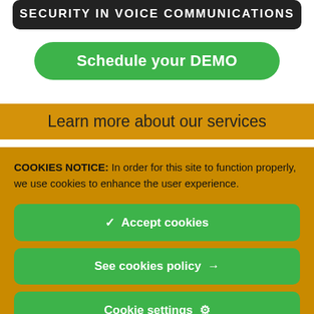SECURITY IN VOICE COMMUNICATIONS
Schedule your DEMO
Learn more about our services
COOKIES NOTICE: In order for this site to function properly, we use cookies to enhance the user experience.
✓ Accept cookies
See cookies policy →
Cookie settings ✿